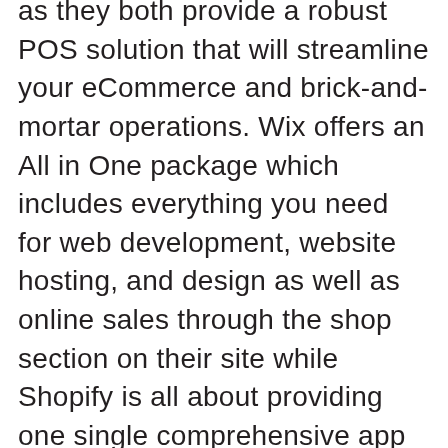as they both provide a robust POS solution that will streamline your eCommerce and brick-and-mortar operations. Wix offers an All in One package which includes everything you need for web development, website hosting, and design as well as online sales through the shop section on their site while Shopify is all about providing one single comprehensive app with everything from point of sale software to inventory management capabilities for scaling businesses or those just starting.
With these two powerhouse solutions at hand, it seems there are few reasons not to choose what best suits your